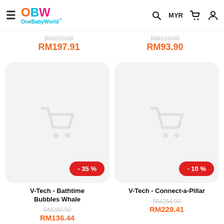OneBabyWorld — navigation bar with hamburger menu, logo, search, MYR, cart, account icons
RM219.00 (strikethrough) RM197.91 | RM219.00 (strikethrough) RM93.90
[Figure (screenshot): Product card placeholder — V-Tech Bathtime Bubbles Whale, grey background with faint cart icon, -35% red badge]
[Figure (screenshot): Product card placeholder — V-Tech Connect-a-Pillar, grey background with faint cart icon, -10% red badge]
V-Tech - Bathtime Bubbles Whale
RM209.90 (strikethrough) RM136.44
V-Tech - Connect-a-Pillar
RM254.90 (strikethrough) RM229.41